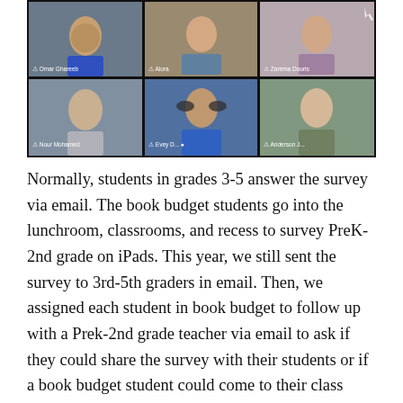[Figure (screenshot): A Zoom video call screenshot showing six students in a 3x2 grid layout. Top row: Omar Ghareeb (child in blue hoodie), Alora (child in striped jacket), Zarema Douris (child with dark hair). Bottom row: Nour Mohamed (child speaking), Evey D... (child with headphones in blue hoodie), Anderson J... (child looking at camera).]
Normally, students in grades 3-5 answer the survey via email. The book budget students go into the lunchroom, classrooms, and recess to survey PreK-2nd grade on iPads. This year, we still sent the survey to 3rd-5th graders in email. Then, we assigned each student in book budget to follow up with a Prek-2nd grade teacher via email to ask if they could share the survey with their students or if a book budget student could come to their class Zoom to talk about the survey. Overall, our number of completed surveys went way down this year but we still had a good